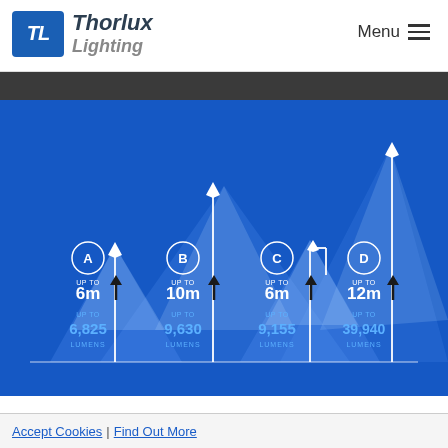Thorlux Lighting | Menu
[Figure (infographic): Thorlux Lighting street/exterior lighting infographic showing four lamp types (A, B, C, D) with their mounting heights and lumen outputs. A: up to 6m, up to 6,825 lumens. B: up to 10m, up to 9,630 lumens. C: up to 6m, up to 9,155 lumens. D: up to 12m, up to 39,940 lumens. Each lamp shown as a white pole with light cone on a blue background.]
Accept Cookies | Find Out More